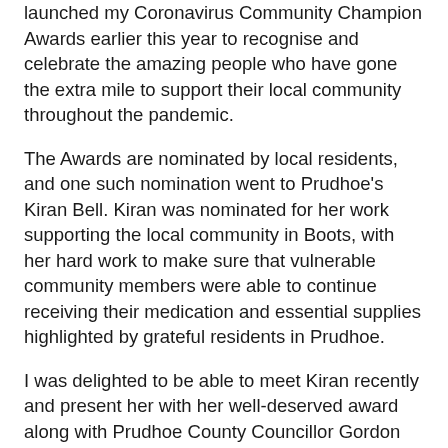launched my Coronavirus Community Champion Awards earlier this year to recognise and celebrate the amazing people who have gone the extra mile to support their local community throughout the pandemic.
The Awards are nominated by local residents, and one such nomination went to Prudhoe's Kiran Bell. Kiran was nominated for her work supporting the local community in Boots, with her hard work to make sure that vulnerable community members were able to continue receiving their medication and essential supplies highlighted by grateful residents in Prudhoe.
I was delighted to be able to meet Kiran recently and present her with her well-deserved award along with Prudhoe County Councillor Gordon Stewart. Congratulations to Kiran and all the team at Boots who have worked tremendously hard throughout the pandemic to support the Prudhoe community.
If you would like to nominate a local person or business for a Coronavirus Community Champion Award, please send your nomination